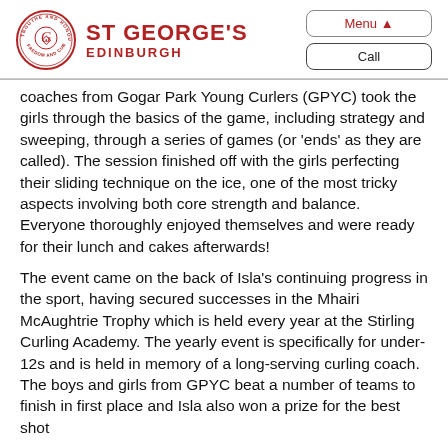St George's Edinburgh
coaches from Gogar Park Young Curlers (GPYC) took the girls through the basics of the game, including strategy and sweeping, through a series of games (or 'ends' as they are called). The session finished off with the girls perfecting their sliding technique on the ice, one of the most tricky aspects involving both core strength and balance. Everyone thoroughly enjoyed themselves and were ready for their lunch and cakes afterwards!
The event came on the back of Isla's continuing progress in the sport, having secured successes in the Mhairi McAughtrie Trophy which is held every year at the Stirling Curling Academy. The yearly event is specifically for under-12s and is held in memory of a long-serving curling coach. The boys and girls from GPYC beat a number of teams to finish in first place and Isla also won a prize for the best shot